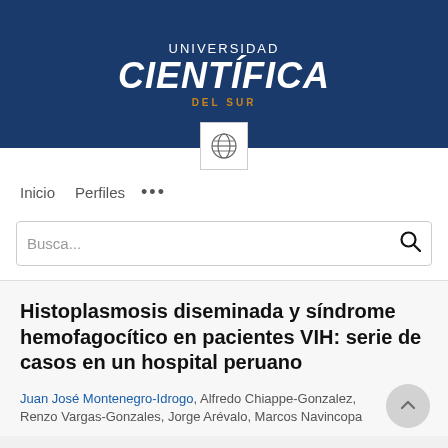[Figure (logo): Universidad Científica del Sur logo — white text on dark blue banner background with globe icon]
Inicio   Perfiles   ...
Busca...
Histoplasmosis diseminada y síndrome hemofagocítico en pacientes VIH: serie de casos en un hospital peruano
Juan José Montenegro-Idrogo, Alfredo Chiappe-Gonzalez, Renzo Vargas-Gonzales, Jorge Arévalo, Marcos Navincopa